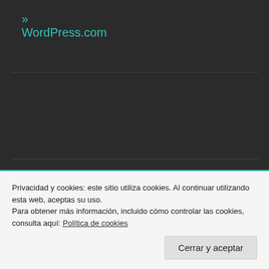» WordPress.com
Buscar ...
ENTRADAS RECIENTES
» Segovia nos espera y Ferrara también
» Segovia y Ferrara conectadas. Tertulias con Encanto
Privacidad y cookies: este sitio utiliza cookies. Al continuar utilizando esta web, aceptas su uso.
Para obtener más información, incluido cómo controlar las cookies, consulta aquí: Política de cookies
Cerrar y aceptar